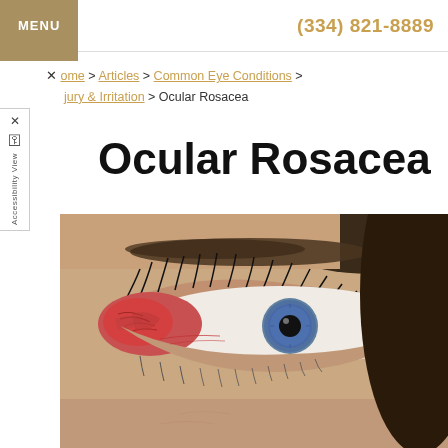MENU | (334) 821-8889
Home > Articles > Common Eye Conditions > Injury & Irritation > Ocular Rosacea
Ocular Rosacea
[Figure (photo): Close-up photograph of a human eye showing redness and irritation characteristic of ocular rosacea, with visible blood vessels on the inner corner of the eye. The subject has dark hair and dark eyebrows.]